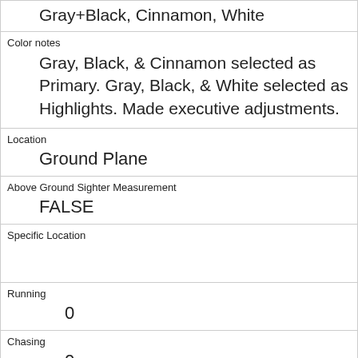| Gray+Black, Cinnamon, White |
| Color notes
Gray, Black, & Cinnamon selected as Primary. Gray, Black, & White selected as Highlights. Made executive adjustments. |
| Location
Ground Plane |
| Above Ground Sighter Measurement
FALSE |
| Specific Location
 |
| Running
0 |
| Chasing
0 |
| Climbing
0 |
| Eating
1 |
| Foraging
0 |